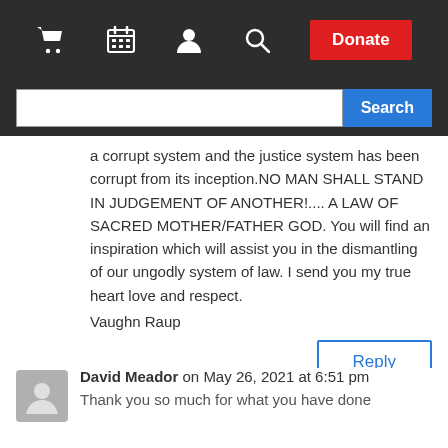Navigation bar with cart, calendar, user, search icons and Donate button
a corrupt system and the justice system has been corrupt from its inception.NO MAN SHALL STAND IN JUDGEMENT OF ANOTHER!.... A LAW OF SACRED MOTHER/FATHER GOD. You will find an inspiration which will assist you in the dismantling of our ungodly system of law. I send you my true heart love and respect.
Vaughn Raup
Reply
David Meador on May 26, 2021 at 6:51 pm
Thank you so much for what you have done